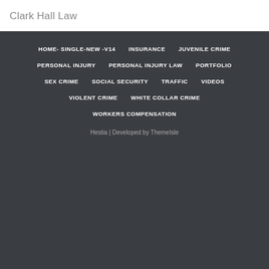Clark Hall Law
HOME- SINGLE-NEW -V14
INSURANCE
JUVENILE CRIME
PERSONAL INJURY
PERSONAL INJURY LAW
PORTFOLIO
SEX CRIME
SOCIAL SECURITY
TRAFFIC
VIDEOS
VIOLENT CRIME
WHITE COLLAR CRIME
WORKERS COMPENSATION
Hestia | Developed by ThemeIsle
LIVE CHAT   TEXT US